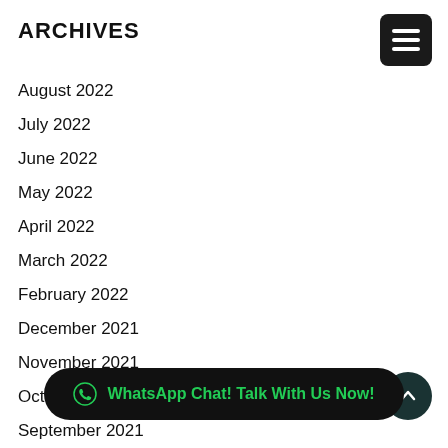ARCHIVES
August 2022
July 2022
June 2022
May 2022
April 2022
March 2022
February 2022
December 2021
November 2021
October 2021
September 2021
August 2021
July 2021
June 2021
May 2021
April 2021
March 2021
WhatsApp Chat! Talk With Us Now!